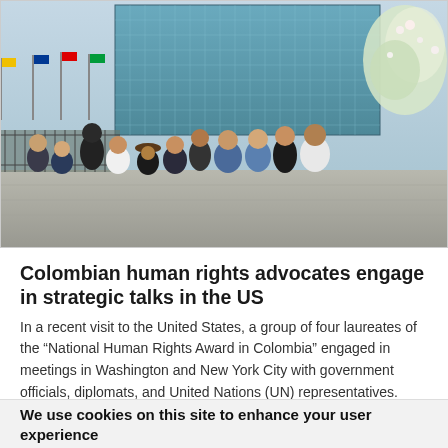[Figure (photo): Group photo of approximately 12 people standing in front of the United Nations headquarters building in New York City. Flags of various nations are visible in the background. The group is standing on a pavement plaza. Trees with white blossoms are visible on the right side.]
Colombian human rights advocates engage in strategic talks in the US
In a recent visit to the United States, a group of four laureates of the “National Human Rights Award in Colombia” engaged in meetings in Washington and New York City with government officials, diplomats, and United Nations (UN) representatives. They spoke
We use cookies on this site to enhance your user experience